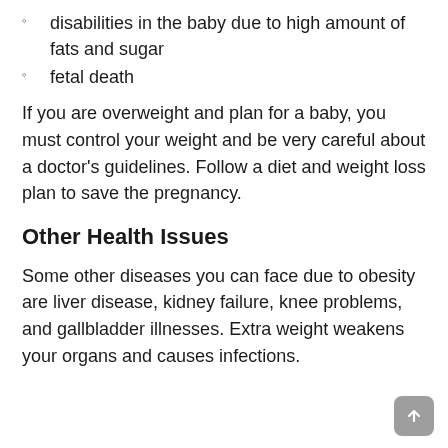disabilities in the baby due to high amount of fats and sugar
fetal death
If you are overweight and plan for a baby, you must control your weight and be very careful about a doctor's guidelines. Follow a diet and weight loss plan to save the pregnancy.
Other Health Issues
Some other diseases you can face due to obesity are liver disease, kidney failure, knee problems, and gallbladder illnesses. Extra weight weakens your organs and causes infections.